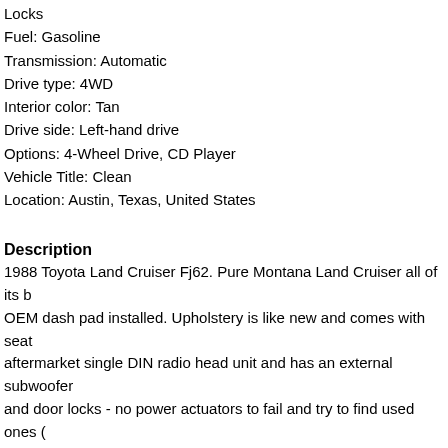Locks
Fuel: Gasoline
Transmission: Automatic
Drive type: 4WD
Interior color: Tan
Drive side: Left-hand drive
Options: 4-Wheel Drive, CD Player
Vehicle Title: Clean
Location: Austin, Texas, United States
Description
1988 Toyota Land Cruiser Fj62. Pure Montana Land Cruiser all of its b OEM dash pad installed. Upholstery is like new and comes with seat aftermarket single DIN radio head unit and has an external subwoofer and door locks - no power actuators to fail and try to find used ones ( frames and rockers are free of rust (since it spent its entire life in Mon rear hatch lock area and a few surface rust areas on the panels - noth truck was coated with an anti-rust preventative coating and looks sha coat peeling in some areas as well.
The truck is for sale locally and I reserve the right to end this auction a I will try and answer all questions in a timely fashion. It is your respon the auction ends. A non-refundable PayPal or equivalent deposit of $5 EXCEPTIONS. Full payment is required within 72 hours after auction who does not comply with these requirements.Transportation and shi assist in setting up shipping for the buyer.
The truck has a clean Texas title. I have the records from the original